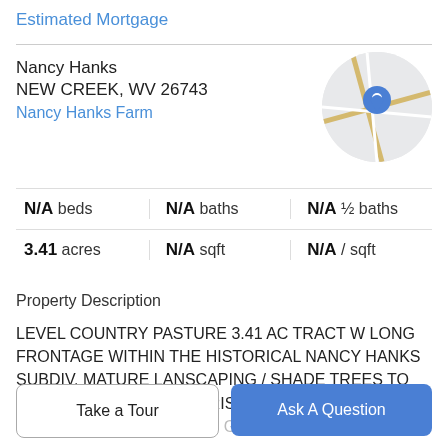Estimated Mortgage
Nancy Hanks
NEW CREEK, WV 26743
Nancy Hanks Farm
[Figure (map): Circular map thumbnail with a blue location pin marker on road/terrain background]
N/A beds | N/A baths | N/A ½ baths
3.41 acres | N/A sqft | N/A / sqft
Property Description
LEVEL COUNTRY PASTURE 3.41 AC TRACT W LONG FRONTAGE WITHIN THE HISTORICAL NANCY HANKS SUBDIV. MATURE LANSCAPING / SHADE TREES TO THE REAR AND THE SUNRISE TO THE EAST. READY TO BUILD THAT WEEKEND GETAWAY OR
Take a Tour
Ask A Question